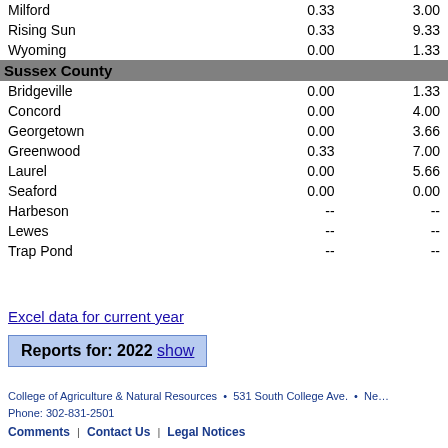| Location | Col1 | Col2 |
| --- | --- | --- |
| Milford | 0.33 | 3.00 |
| Rising Sun | 0.33 | 9.33 |
| Wyoming | 0.00 | 1.33 |
| Sussex County |  |  |
| Bridgeville | 0.00 | 1.33 |
| Concord | 0.00 | 4.00 |
| Georgetown | 0.00 | 3.66 |
| Greenwood | 0.33 | 7.00 |
| Laurel | 0.00 | 5.66 |
| Seaford | 0.00 | 0.00 |
| Harbeson | -- | -- |
| Lewes | -- | -- |
| Trap Pond | -- | -- |
Excel data for current year
Reports for: 2022 show
College of Agriculture & Natural Resources • 531 South College Ave. • Ne… Phone: 302-831-2501 | Comments | Contact Us | Legal Notices